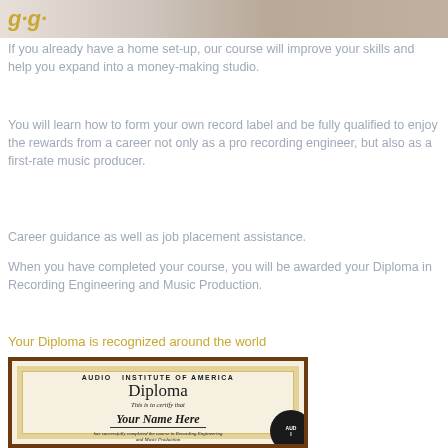[Figure (photo): Partial image of a person at a recording/computer setup, cropped at top of page]
If you already have a home set-up, our course will improve your skills and help you expand into a money-making studio.
You will learn how to form your own record label and be fully qualified to enjoy the rewards from a career not only as a pro recording engineer, but also as a first-rate music producer.
Career guidance as well as job placement assistance.
When you have completed your course, you will be awarded your Diploma in Recording Engineering and Music Production.
Your Diploma is recognized around the world
[Figure (photo): Image of Audio Institute of America Diploma certificate with text: AUDIO INSTITUTE of AMERICA, Diploma, This is to certify that, Your Name Here, has successfully completed the course in Recording Engineering and Music Production, HONOR STUDENT, with a circular seal/logo partially visible]